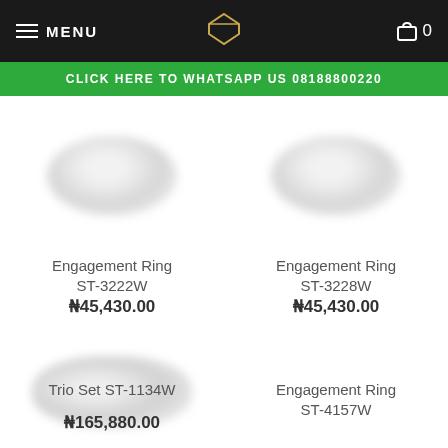MENU | [diamond logo] | 0
CLICK HERE TO WHATSAPP US 08188800220
[Figure (photo): Blurred photo of an engagement ring (ST-3222W)]
Engagement Ring ST-3222W
₦45,430.00
[Figure (photo): Blurred photo of an engagement ring (ST-3228W)]
Engagement Ring ST-3228W
₦45,430.00
[Figure (photo): Blurred photo of a trio set of rings (ST-1134W)]
Trio Set ST-1134W
₦165,880.00
[Figure (photo): Blurred photo of an engagement ring with SALE badge (ST-4157W)]
Engagement Ring ST-4157W